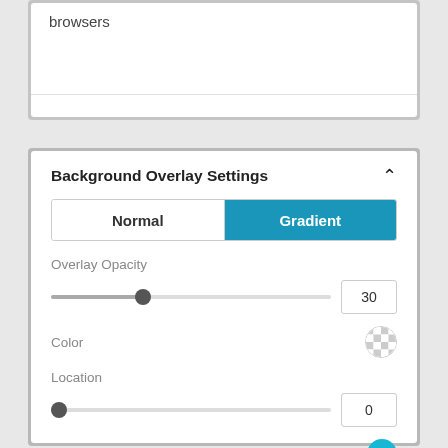browsers
[Figure (screenshot): Background Overlay Settings panel with Normal/Gradient toggle, Overlay Opacity slider set to 30, Color field with checkerboard swatch, Location slider set to 0, and Second Color field with teal swatch.]
Background Overlay Settings
Normal
Gradient
Overlay Opacity
30
Color
Location
0
Second Color